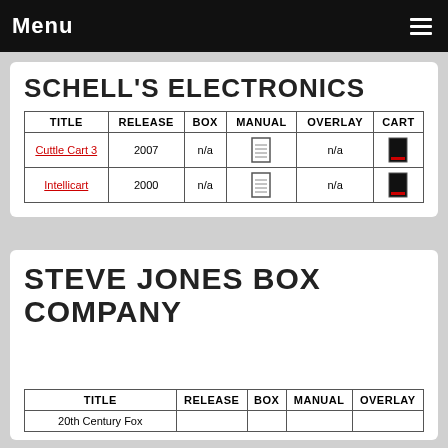Menu
SCHELL'S ELECTRONICS
| TITLE | RELEASE | BOX | MANUAL | OVERLAY | CART |
| --- | --- | --- | --- | --- | --- |
| Cuttle Cart 3 | 2007 | n/a | [manual icon] | n/a | [cart icon] |
| Intellicart | 2000 | n/a | [manual icon] | n/a | [cart icon] |
STEVE JONES BOX COMPANY
| TITLE | RELEASE | BOX | MANUAL | OVERLAY |
| --- | --- | --- | --- | --- |
| 20th Century Fox |  |  |  |  |